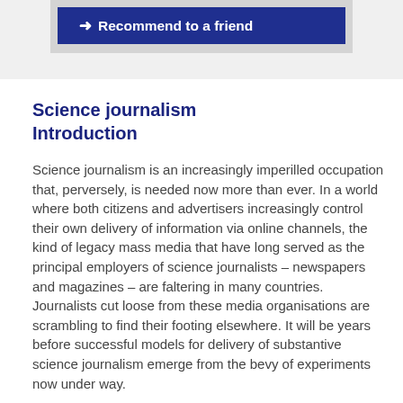[Figure (other): A dark navy blue button with a right-pointing arrow icon and bold white text reading 'Recommend to a friend', displayed inside a light gray box.]
Science journalism Introduction
Science journalism is an increasingly imperilled occupation that, perversely, is needed now more than ever. In a world where both citizens and advertisers increasingly control their own delivery of information via online channels, the kind of legacy mass media that have long served as the principal employers of science journalists – newspapers and magazines – are faltering in many countries. Journalists cut loose from these media organisations are scrambling to find their footing elsewhere. It will be years before successful models for delivery of substantive science journalism emerge from the bevy of experiments now under way.